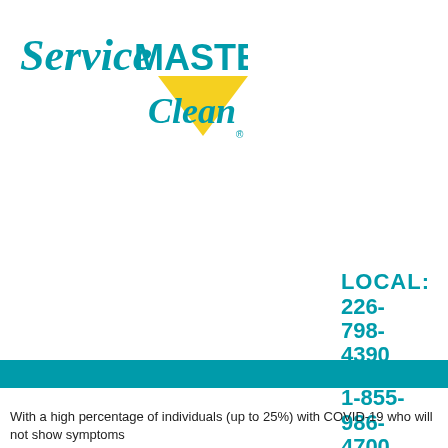[Figure (logo): ServiceMASTER Clean logo with teal wordmark and yellow triangle]
LOCAL:
226-798-4390
TOLL FREE:
1-855-986-4700
With a high percentage of individuals (up to 25%) with COVID-19 who will not show symptoms